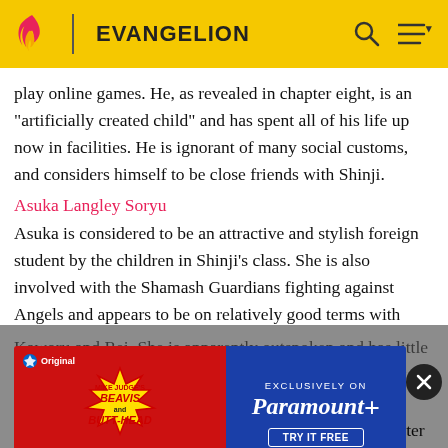EVANGELION
play online games. He, as revealed in chapter eight, is an "artificially created child" and has spent all of his life up now in facilities. He is ignorant of many social customs, and considers himself to be close friends with Shinji.
Asuka Langley Soryu
Asuka is considered to be an attractive and stylish foreign student by the children in Shinji's class. She is also involved with the Shamash Guardians fighting against Angels and appears to be on relatively good terms with Kaworu and Rei. She is apparently outspoken and has little patience. She is not known to typically not display outward hostility towards her classmates. She fights against Angels and is proud of her abilities. As revealed in chapter
[Figure (screenshot): Advertisement banner for Beavis and Butt-Head new series on Paramount+, now streaming exclusively.]